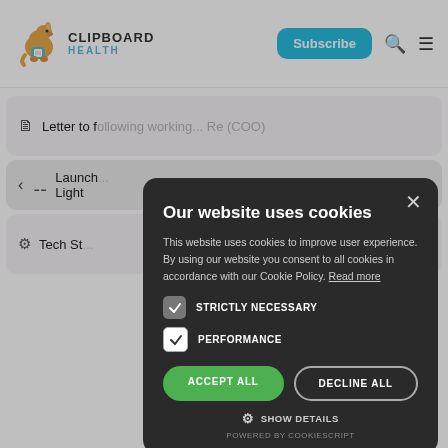[Figure (screenshot): Clipboard Health website header with kangaroo logo, Subscribe button, search icon and menu icon]
Letter to f... working... with Re (COO)
Launch... Light
Tech St...
Our website uses cookies
This website uses cookies to improve user experience. By using our website you consent to all cookies in accordance with our Cookie Policy. Read more
STRICTLY NECESSARY
PERFORMANCE
ACCEPT ALL
DECLINE ALL
SHOW DETAILS
POWERED BY COOKIESCRIPT